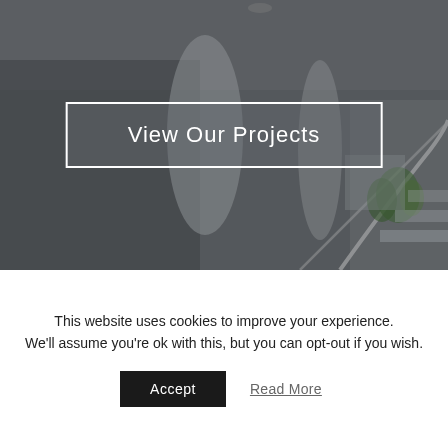[Figure (photo): Interior architectural photo showing a modern building lobby with white curved columns, a staircase with white railing, green plant, and dark overlay. A button with white border overlay reads 'View Our Projects'.]
View Our Projects
This website uses cookies to improve your experience. We'll assume you're ok with this, but you can opt-out if you wish.
Accept
Read More